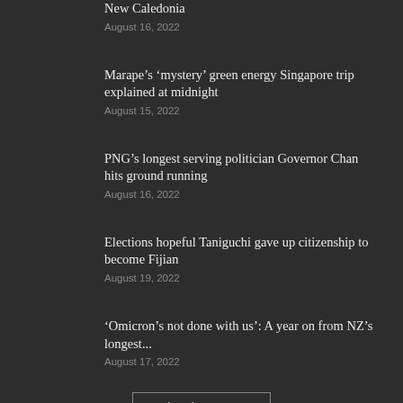New Caledonia
August 16, 2022
Marape’s ‘mystery’ green energy Singapore trip explained at midnight
August 15, 2022
PNG’s longest serving politician Governor Chan hits ground running
August 16, 2022
Elections hopeful Taniguchi gave up citizenship to become Fijian
August 19, 2022
‘Omicron’s not done with us’: A year on from NZ’s longest...
August 17, 2022